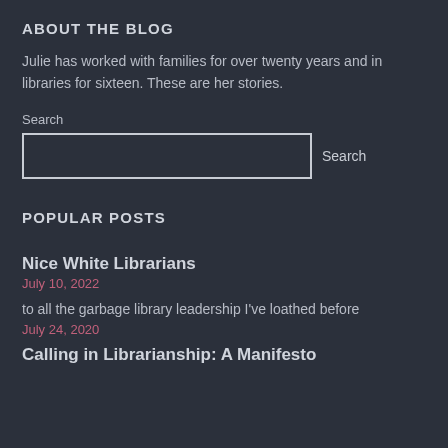ABOUT THE BLOG
Julie has worked with families for over twenty years and in libraries for sixteen. These are her stories.
Search
POPULAR POSTS
Nice White Librarians
July 10, 2022
to all the garbage library leadership I've loathed before
July 24, 2020
Calling in Librarianship: A Manifesto